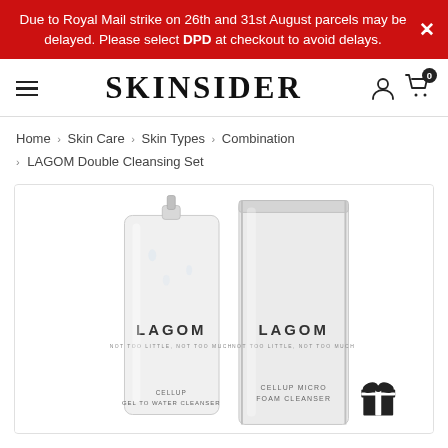Due to Royal Mail strike on 26th and 31st August parcels may be delayed. Please select DPD at checkout to avoid delays.
SKINSIDER
Home › Skin Care › Skin Types › Combination › LAGOM Double Cleansing Set
[Figure (photo): Two LAGOM skincare product tubes side by side on white background. Left tube: LAGOM Cellup Gel to Water Cleanser. Right tube: LAGOM Cellup Micro Foam Cleanser. Both tubes are white with minimal branding.]